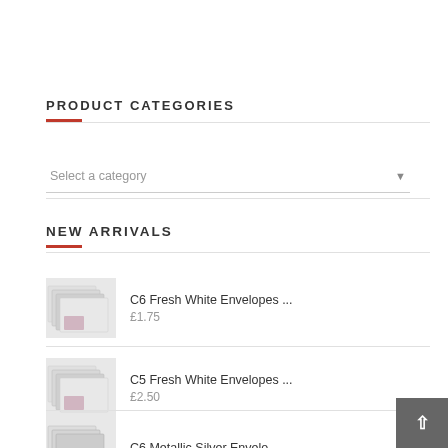PRODUCT CATEGORIES
Select a category
NEW ARRIVALS
C6 Fresh White Envelopes ... £1.75
C5 Fresh White Envelopes ... £2.50
C6 Metallic Silver Envelo...